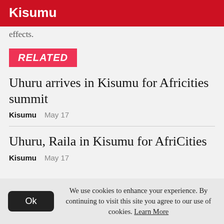Kisumu
effects.
RELATED
Uhuru arrives in Kisumu for Africities summit
Kisumu   May 17
Uhuru, Raila in Kisumu for AfriCities
Kisumu   May 17
We use cookies to enhance your experience. By continuing to visit this site you agree to our use of cookies. Learn More